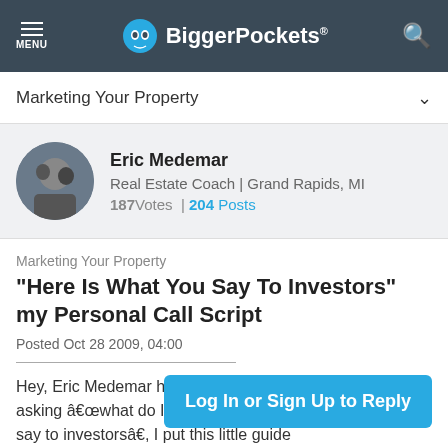BiggerPockets
Marketing Your Property
Eric Medemar
Real Estate Coach | Grand Rapids, MI
187 Votes | 204 Posts
Marketing Your Property
"Here Is What You Say To Investors" my Personal Call Script
Posted Oct 28 2009, 04:00
Hey, Eric Medemar has gotten hundreds of questions asking â€œwhat do I say to investorsâ€, I put this little guide together to help answer On this first...
Log In or Sign Up to Reply